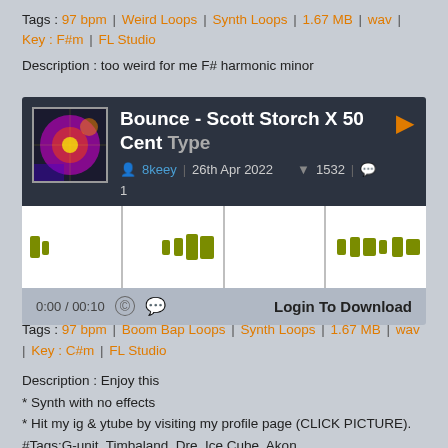Tags : 97 bpm | Weird Loops | Synth Loops | 1.67 MB | wav | Key : F#m | FL Studio
Description : too weird for me F# harmonic minor
[Figure (screenshot): Audio player widget for 'Bounce - Scott Storch X 50 Cent Type' by 8keey, dated 26th Apr 2022, with 1532 downloads and 1 comment, showing waveform and Login To Download button]
Tags : 97 bpm | Boom Bap Loops | Synth Loops | 1.67 MB | wav | Key : C#m | FL Studio
Description : Enjoy this
* Synth with no effects
* Hit my ig & ytube by visiting my profile page (CLICK PICTURE).
#Tags:G-unit, Timbaland, Dre, Ice Cube, Akon